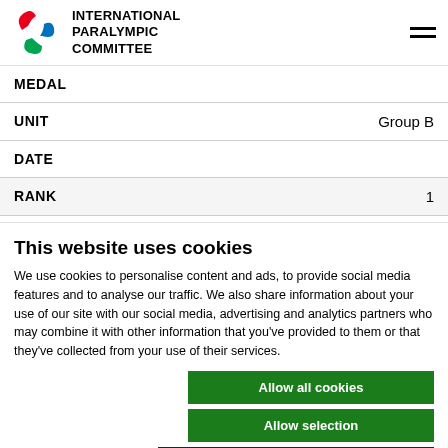INTERNATIONAL PARALYMPIC COMMITTEE
| Field | Value |
| --- | --- |
| MEDAL |  |
| UNIT | Group B |
| DATE |  |
| RANK | 1 |
This website uses cookies
We use cookies to personalise content and ads, to provide social media features and to analyse our traffic. We also share information about your use of our site with our social media, advertising and analytics partners who may combine it with other information that you've provided to them or that they've collected from your use of their services.
Allow all cookies
Allow selection
Use necessary cookies only
RANK
Necessary | Preferences | Statistics | Marketing | Show details